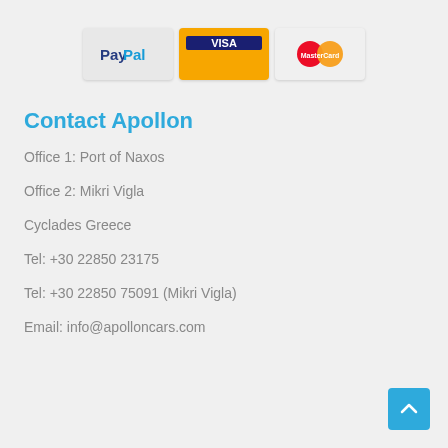[Figure (logo): Payment method logos: PayPal, Visa, MasterCard]
Contact Apollon
Office 1: Port of Naxos
Office 2: Mikri Vigla
Cyclades Greece
Tel: +30 22850 23175
Tel: +30 22850 75091 (Mikri Vigla)
Email: info@apolloncars.com